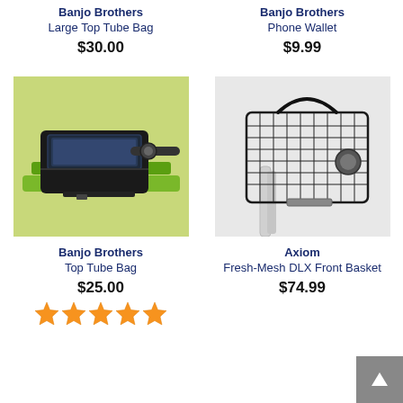Banjo Brothers
Large Top Tube Bag
$30.00
Banjo Brothers
Phone Wallet
$9.99
[Figure (photo): Banjo Brothers Top Tube Bag mounted on a green bicycle frame handlebar area]
[Figure (photo): Axiom Fresh-Mesh DLX Front Basket mounted on a white bicycle]
Banjo Brothers
Top Tube Bag
$25.00
Axiom
Fresh-Mesh DLX Front Basket
$74.99